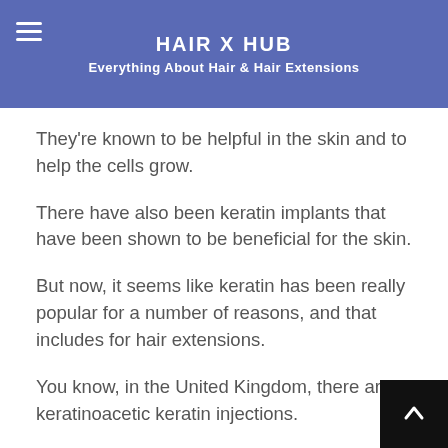HAIR X HUB
Everything About Hair & Hair Extensions
A lot people are interested in the kerratins because they have protein in the body.
They’re known to be helpful in the skin and to help the cells grow.
There have also been keratin implants that have been shown to be beneficial for the skin.
But now, it seems like keratin has been really popular for a number of reasons, and that includes for hair extensions.
You know, in the United Kingdom, there are keratinoacetic keratin injections.